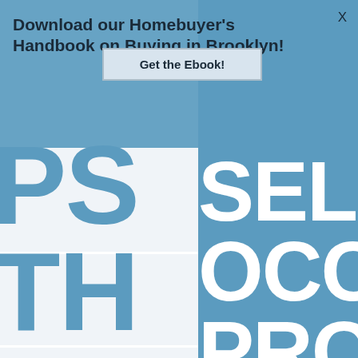[Figure (screenshot): Website screenshot showing a popup overlay on a real estate page. The popup reads 'Download our Homebuyer's Handbook on Buying in Brooklyn!' with a 'Get the Ebook!' button and an X close button. Behind the popup are large cropped letters on a blue/white background: left side shows 'PS', 'TH', 'NA' in blue on white; right side shows 'SEL', 'OCCU', 'PROP' in white on blue. A building illustration is visible at the bottom right.]